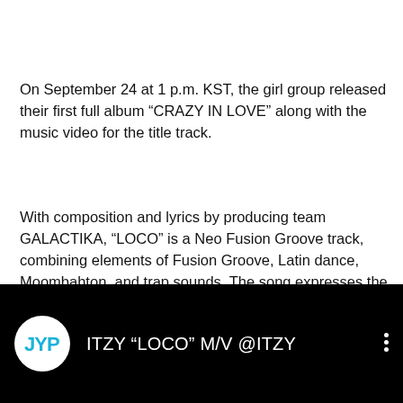On September 24 at 1 p.m. KST, the girl group released their first full album “CRAZY IN LOVE” along with the music video for the title track.
With composition and lyrics by producing team GALACTIKA, “LOCO” is a Neo Fusion Groove track, combining elements of Fusion Groove, Latin dance, Moombahton, and trap sounds. The song expresses the rollercoaster ride of emotions involved with love. For those who don’t know, team GALACIKA is popular for creating amazing rock and pop music and has worked with has produced some of the greatest songs of Itzy, like Wannabe and Dalla Dalla.
Watch the music video below
[Figure (screenshot): YouTube video embed showing ITZY “LOCO” M/V @ITZY with JYP logo circle on black background]